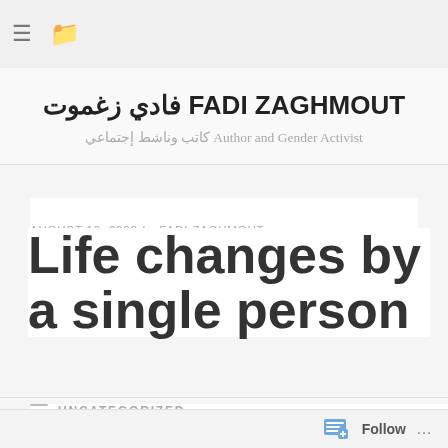≡  🗀
فادي زغموت FADI ZAGHMOUT
كاتب وناشط إجتماعي Author and Gender Activist
AUGUST 13, 2008 by FADI ZAGHMOUT
Life changes by a single person
UNCATEGORIZED
Follow ...